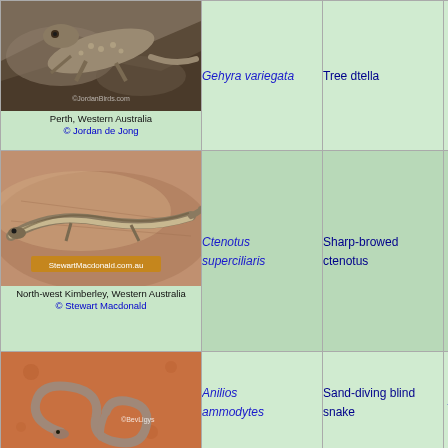| Photo | Scientific name | Common name | Partial |
| --- | --- | --- | --- |
| Perth, Western Australia © Jordan de Jong | Gehyra variegata | Tree dtella | Geh... |
| North-west Kimberley, Western Australia © Stewart Macdonald | Ctenotus superciliaris | Sharp-browed ctenotus | Cten... |
| ©BevLigys | Anilios ammodytes | Sand-diving blind snake | Anil... |